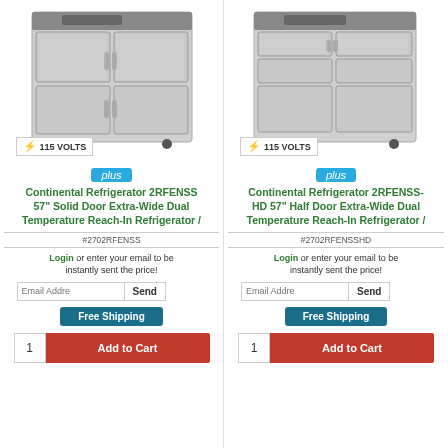[Figure (photo): Continental Refrigerator 2RFENSS 57 inch solid door stainless steel reach-in refrigerator with 115 VOLTS badge]
[Figure (photo): Continental Refrigerator 2RFENSS-HD 57 inch half door stainless steel reach-in refrigerator with 115 VOLTS badge]
Continental Refrigerator 2RFENSS 57" Solid Door Extra-Wide Dual Temperature Reach-In Refrigerator /
Continental Refrigerator 2RFENSS-HD 57" Half Door Extra-Wide Dual Temperature Reach-In Refrigerator /
#2702RFENSS
#2702RFENSSHD
Login or enter your email to be instantly sent the price!
Login or enter your email to be instantly sent the price!
Free Shipping
Free Shipping